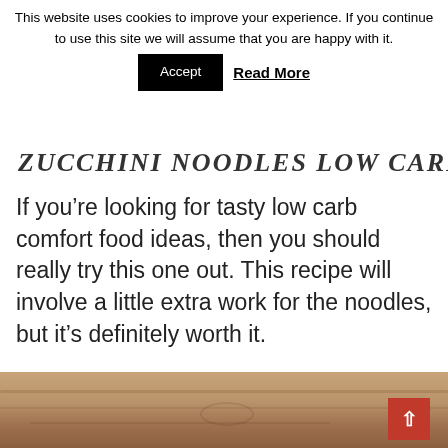This website uses cookies to improve your experience. If you continue to use this site we will assume that you are happy with it.
Accept   Read More
ZUCCHINI NOODLES LOW CARB
If you’re looking for tasty low carb comfort food ideas, then you should really try this one out. This recipe will involve a little extra work for the noodles, but it’s definitely worth it.
[Figure (photo): Close-up of a wooden cutting board surface, partially visible at the bottom of the page, with a scroll-to-top button overlay in the bottom right corner.]